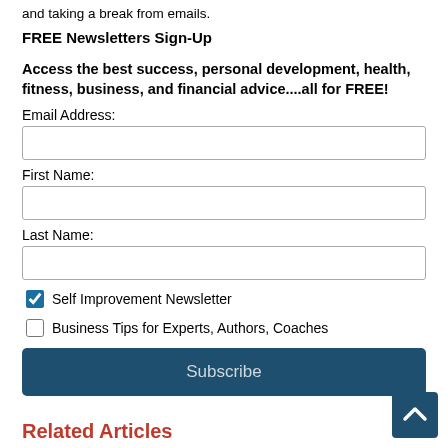and taking a break from emails.
FREE Newsletters Sign-Up
Access the best success, personal development, health, fitness, business, and financial advice....all for FREE!
Email Address:
First Name:
Last Name:
Self Improvement Newsletter
Business Tips for Experts, Authors, Coaches
Subscribe
Related Articles
Welcome Joy
Find Your Own Joy...